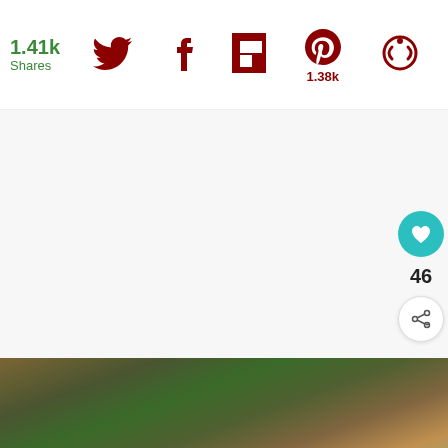1.41k Shares
[Figure (screenshot): Social sharing bar with Twitter, Facebook, Flipboard, Pinterest (1.38k), and another icon]
[Figure (screenshot): White/light gray content area with like (heart) button showing 46 likes and a share button on the right sidebar]
[Figure (photo): Food photo showing stir-fried vegetables including mushrooms, broccoli, and carrots]
WHAT'S NEXT → Carrot Cake Tastes Like ...
[Figure (screenshot): Advertisement banner: It's time to talk about Alzheimer's. LEARN MORE. Alzheimer's Association logo. Close button.]